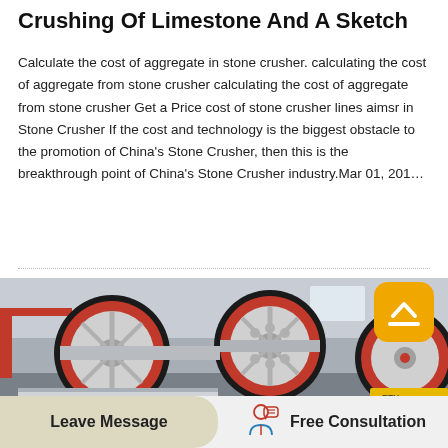Crushing Of Limestone And A Sketch
Calculate the cost of aggregate in stone crusher. calculating the cost of aggregate from stone crusher calculating the cost of aggregate from stone crusher Get a Price cost of stone crusher lines aimsr in Stone Crusher If the cost and technology is the biggest obstacle to the promotion of China's Stone Crusher, then this is the breakthrough point of China's Stone Crusher industry.Mar 01, 201…
[Figure (photo): Industrial stone crusher machine with large black and red flywheel rollers in a factory/warehouse setting]
Leave Message
Free Consultation